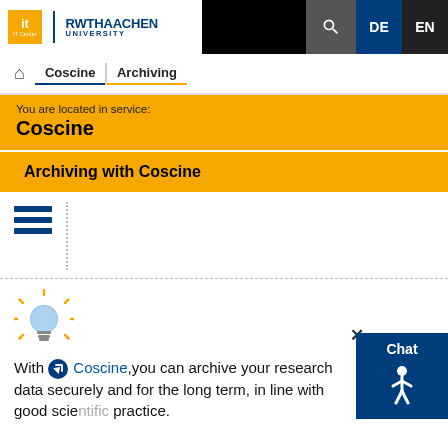RWTH Aachen University IT Center — DE | EN
Coscine | Archiving
You are located in service: Coscine
Archiving with Coscine
[Figure (other): Hamburger menu icon (three horizontal blue bars) next to a vertical dotted line, representing a table of contents]
[Figure (other): Light bulb icon indicating a tip or information box]
With Coscine, you can archive your research data securely and for the long term, in line with good scientific practice.